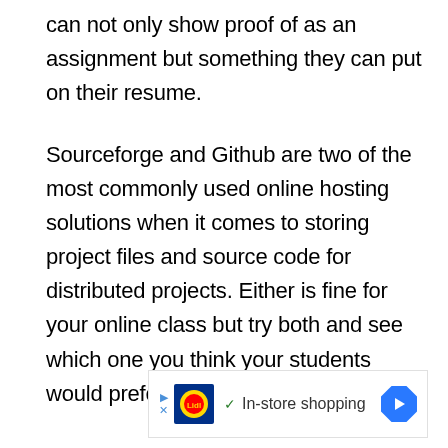can not only show proof of as an assignment but something they can put on their resume.
Sourceforge and Github are two of the most commonly used online hosting solutions when it comes to storing project files and source code for distributed projects. Either is fine for your online class but try both and see which one you think your students would prefer.
[Figure (other): Advertisement banner for Lidl featuring the Lidl logo, a checkmark, the text 'In-store shopping', and a blue diamond navigation arrow icon.]